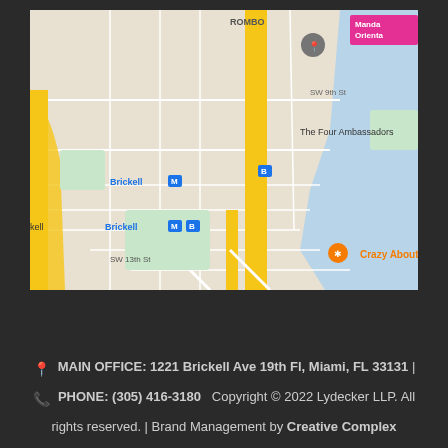[Figure (map): Google Maps screenshot showing the Brickell neighborhood in Miami, FL, with landmarks including The Four Ambassadors, Brickell metro stations, Crazy About You restaurant, Simpson Park, Point View area, and a pink hotel marker. Main roads include SW 13th St, SE 15th Rd, Miami Ave, and the highlighted Brickell Ave (yellow road). Water body (Biscayne Bay) visible on the right. Manda Oriental hotel visible top right.]
📍 MAIN OFFICE: 1221 Brickell Ave 19th Fl, Miami, FL 33131 | 📞 PHONE: (305) 416-3180   Copyright © 2022 Lydecker LLP. All rights reserved. | Brand Management by Creative Complex